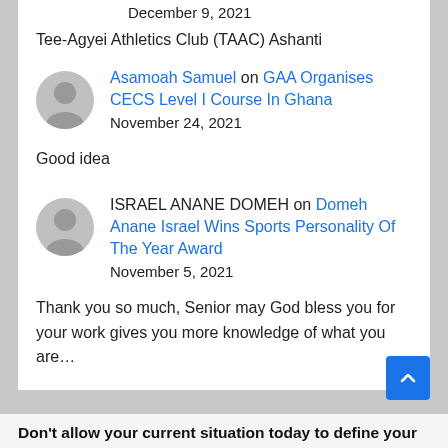December 9, 2021
Tee-Agyei Athletics Club (TAAC) Ashanti
Asamoah Samuel on GAA Organises CECS Level I Course In Ghana
November 24, 2021
Good idea
ISRAEL ANANE DOMEH on Domeh Anane Israel Wins Sports Personality Of The Year Award
November 5, 2021
Thank you so much, Senior may God bless you for your work gives you more knowledge of what you are…
Don't allow your current situation today to define your